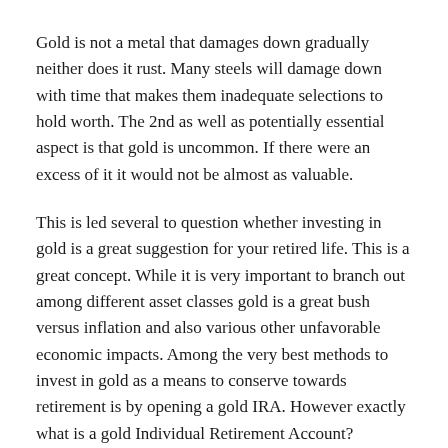Gold is not a metal that damages down gradually neither does it rust. Many steels will damage down with time that makes them inadequate selections to hold worth. The 2nd as well as potentially essential aspect is that gold is uncommon. If there were an excess of it it would not be almost as valuable.
This is led several to question whether investing in gold is a great suggestion for your retired life. This is a great concept. While it is very important to branch out among different asset classes gold is a great bush versus inflation and also various other unfavorable economic impacts. Among the very best methods to invest in gold as a means to conserve towards retirement is by opening a gold IRA. However exactly what is a gold Individual Retirement Account?